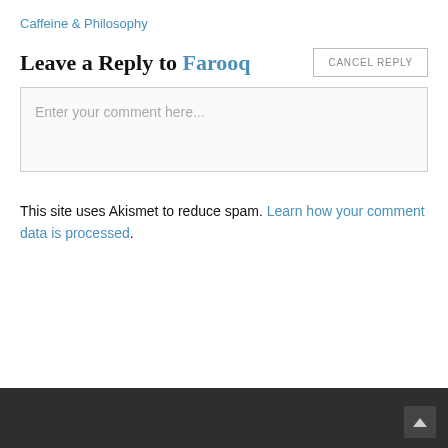Caffeine & Philosophy
Leave a Reply to Farooq
CANCEL REPLY
Enter your comment here...
This site uses Akismet to reduce spam. Learn how your comment data is processed.